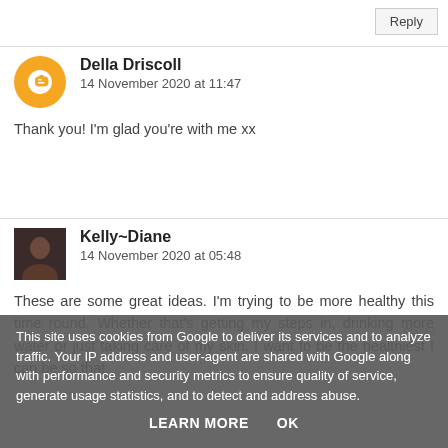Reply
Della Driscoll
14 November 2020 at 11:47
Thank you! I'm glad you're with me xx
Kelly~Diane
14 November 2020 at 05:48
These are some great ideas. I'm trying to be more healthy this time round. Whether that's getting my steps in, drinking more water or just taking care of my skin. I want to be the healthiest I can be so that
Reply
This site uses cookies from Google to deliver its services and to analyze traffic. Your IP address and user-agent are shared with Google along with performance and security metrics to ensure quality of service, generate usage statistics, and to detect and address abuse.
LEARN MORE   OK